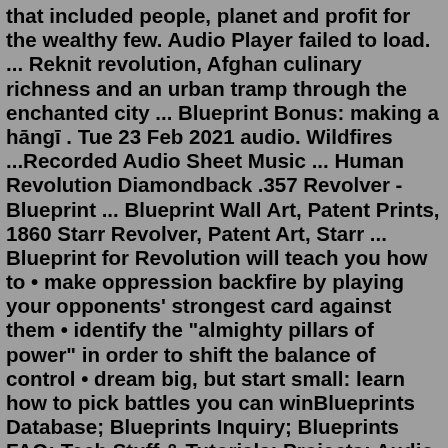that included people, planet and profit for the wealthy few. Audio Player failed to load. ... Reknit revolution, Afghan culinary richness and an urban tramp through the enchanted city ... Blueprint Bonus: making a hāngī . Tue 23 Feb 2021 audio. Wildfires ...Recorded Audio Sheet Music ... Human Revolution Diamondback .357 Revolver - Blueprint ... Blueprint Wall Art, Patent Prints, 1860 Starr Revolver, Patent Art, Starr ... Blueprint for Revolution will teach you how to • make oppression backfire by playing your opponents' strongest card against them • identify the "almighty pillars of power" in order to shift the balance of control • dream big, but start small: learn how to pick battles you can winBlueprints Database; Blueprints Inquiry; Blueprints FAQ; Tech Stuff & Tutorials; Projects; Audio Deals; Audio Deals. Advanced Search; a/d/s; Adire Audio; Alphasonik; Alpine; Alumapro; American Bass; Ample Audio; Arc Audio; Atomic Loudspeakers; ... [wordbay](rd audio, revolution design audio)[/wordbay] Disclaimer: These are the latest auctions ...Blueprints.com offers tons of